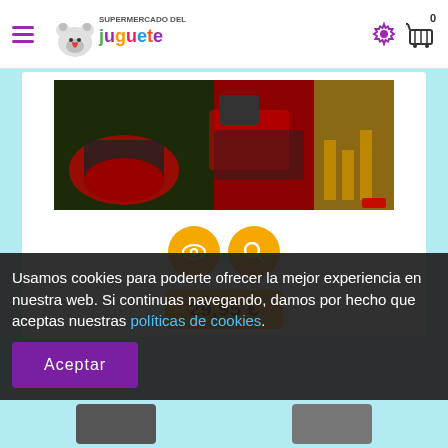[Figure (screenshot): Website header for 'Supermercado del Juguete' with hamburger menu, colorful logo with bear mascot, settings gear icon, and shopping cart icon with 0 count]
[Figure (photo): Product image showing a toy/game set with dark background, red elements, and various components]
[Figure (other): Two golden circular action buttons: eye/view icon and magnifying glass/search icon]
29,95 €
Usamos cookies para poderte ofrecer la mejor experiencia en nuestra web. Si continuas navegando, damos por hecho que aceptas nuestras políticas de cookies.
Aceptar